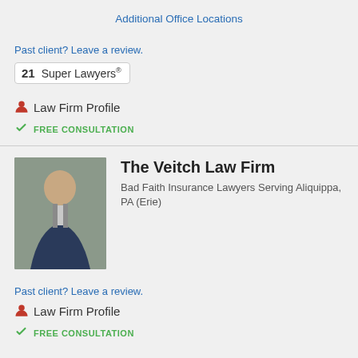Additional Office Locations
Past client? Leave a review.
21  Super Lawyers®
Law Firm Profile
FREE CONSULTATION
[Figure (photo): Photo of a male attorney in a dark suit and tie, standing indoors.]
The Veitch Law Firm
Bad Faith Insurance Lawyers Serving Aliquippa, PA (Erie)
Past client? Leave a review.
Law Firm Profile
FREE CONSULTATION